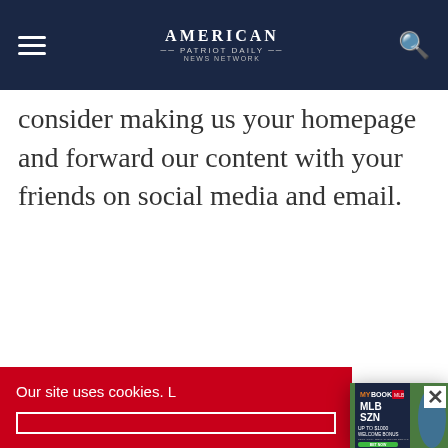American Patriot Daily News Network
consider making us your homepage and forward our content with your friends on social media and email.
[Figure (screenshot): MyBookie MLB SZN advertisement popup showing 'UP TO $1000 WELCOME BONUS' with a baseball player bobblehead and a 'BET NOW' green button. T&C's apply. See cashier for details.]
Our site uses cookies. L